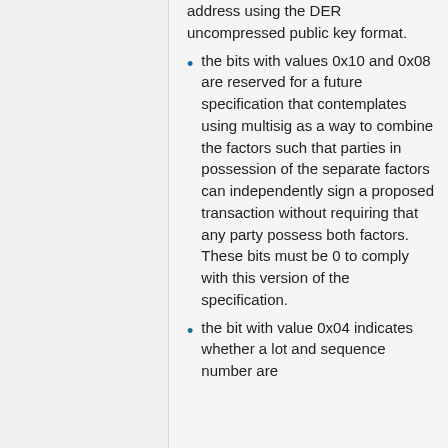address using the DER uncompressed public key format.
the bits with values 0x10 and 0x08 are reserved for a future specification that contemplates using multisig as a way to combine the factors such that parties in possession of the separate factors can independently sign a proposed transaction without requiring that any party possess both factors. These bits must be 0 to comply with this version of the specification.
the bit with value 0x04 indicates whether a lot and sequence number are